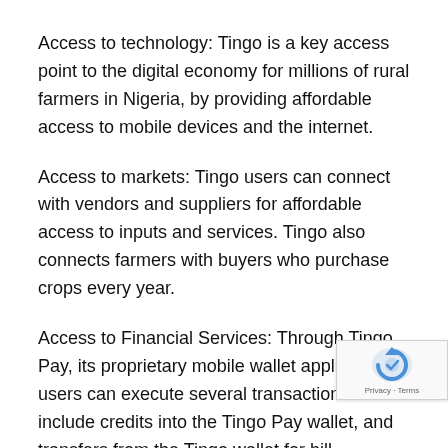Access to technology: Tingo is a key access point to the digital economy for millions of rural farmers in Nigeria, by providing affordable access to mobile devices and the internet.
Access to markets: Tingo users can connect with vendors and suppliers for affordable access to inputs and services. Tingo also connects farmers with buyers who purchase crops every year.
Access to Financial Services: Through Tingo Pay, its proprietary mobile wallet application, users can execute several transactions. These include credits into the Tingo Pay wallet, and transfers from the Tingo wallet for bill payments and P2P (peer to peer payments). Tingo will continuing to add services to this...